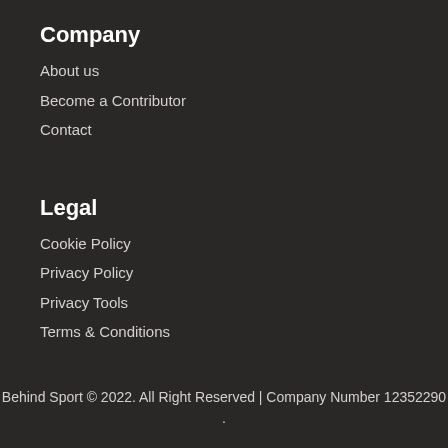Company
About us
Become a Contributor
Contact
Legal
Cookie Policy
Privacy Policy
Privacy Tools
Terms & Conditions
Behind Sport © 2022. All Right Reserved | Company Number 12352290 .